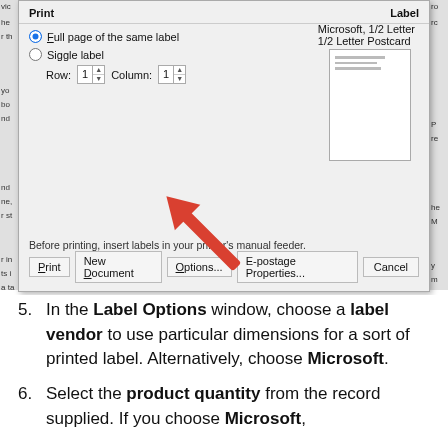[Figure (screenshot): Screenshot of a Microsoft Word Label Options dialog box showing Print options (Full page of the same label selected, Single label with Row/Column spinners), a Label preview pane showing Microsoft 1/2 Letter / 1/2 Letter Postcard, a note 'Before printing, insert labels in your printer's manual feeder.', and buttons: Print, New Document, Options... (with a red arrow pointing to it), E-postage Properties..., and Cancel.]
5. In the Label Options window, choose a label vendor to use particular dimensions for a sort of printed label. Alternatively, choose Microsoft.
6. Select the product quantity from the record supplied. If you choose Microsoft,